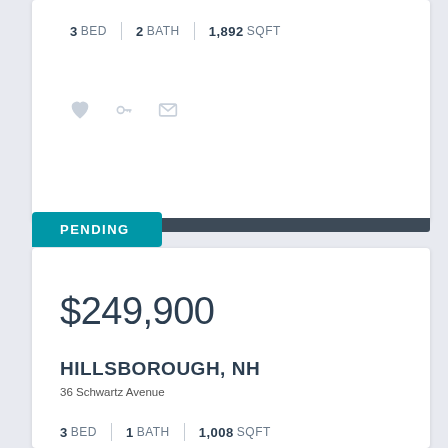3 BED | 2 BATH | 1,892 SQFT
PENDING
$249,900
HILLSBOROUGH, NH
36 Schwartz Avenue
3 BED | 1 BATH | 1,008 SQFT